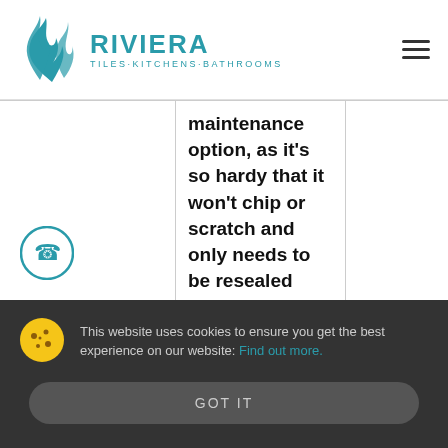[Figure (logo): Riviera Tiles Kitchens Bathrooms logo with teal wave/flame icon and company name]
maintenance option, as it's so hardy that it won't chip or scratch and only needs to be resealed once every ten years. Granite
This website uses cookies to ensure you get the best experience on our website: Find out more.
GOT IT